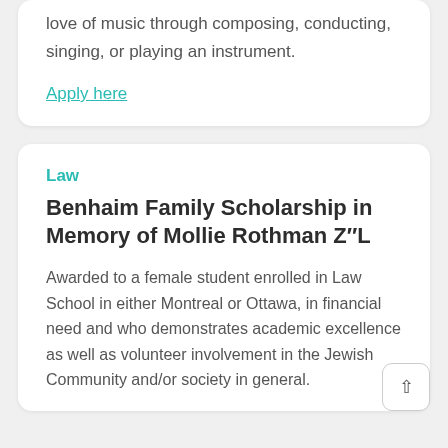love of music through composing, conducting, singing, or playing an instrument.
Apply here
Law
Benhaim Family Scholarship in Memory of Mollie Rothman Z"L
Awarded to a female student enrolled in Law School in either Montreal or Ottawa, in financial need and who demonstrates academic excellence as well as volunteer involvement in the Jewish Community and/or society in general.